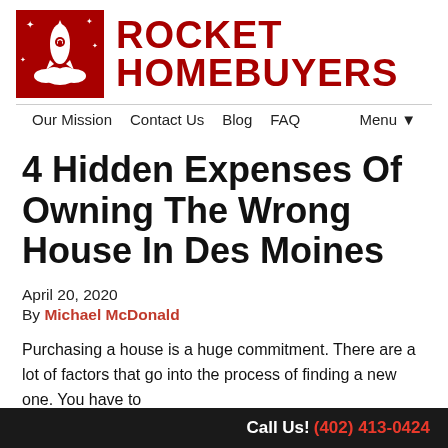[Figure (logo): Rocket Homebuyers logo: red square with white rocket ship graphic on left, bold red text 'ROCKET HOMEBUYERS' on right]
Our Mission   Contact Us   Blog   FAQ   Menu▾
4 Hidden Expenses Of Owning The Wrong House In Des Moines
April 20, 2020
By Michael McDonald
Purchasing a house is a huge commitment. There are a lot of factors that go into the process of finding a new one. You have to...
Call Us! (402) 413-0424